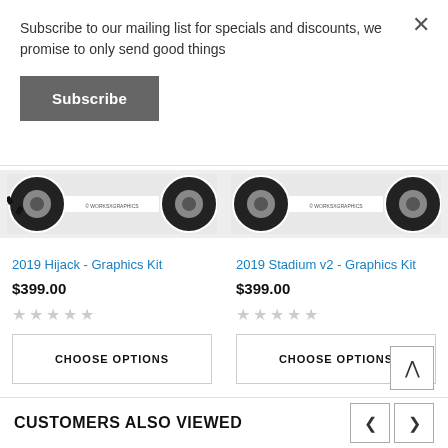Subscribe to our mailing list for specials and discounts, we promise to only send good things
Subscribe
[Figure (photo): Two motocross tires/wheels shown side by side - left product image for 2019 Hijack Graphics Kit]
[Figure (photo): Two motocross tires/wheels shown side by side - right product image for 2019 Stadium v2 Graphics Kit]
2019 Hijack - Graphics Kit
$399.00
CHOOSE OPTIONS
2019 Stadium v2 - Graphics Kit
$399.00
CHOOSE OPTIONS
CUSTOMERS ALSO VIEWED